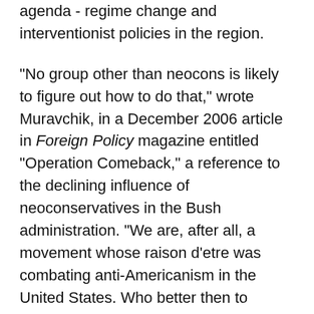agenda - regime change and interventionist policies in the region.
"No group other than neocons is likely to figure out how to do that," wrote Muravchik, in a December 2006 article in Foreign Policy magazine entitled "Operation Comeback," a reference to the declining influence of neoconservatives in the Bush administration. "We are, after all, a movement whose raison d'etre was combating anti-Americanism in the United States. Who better then to combat it abroad?"
In a widely circulated e-mail memo sent to White House adviser Karl Rove in July 2006 and obtained by the Inter Press Service, the former Republican Speaker of the House Newt Gingrich also criticized the State Department's inability to